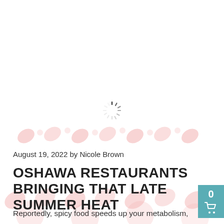[Figure (other): Loading spinner (circular activity indicator) centered on white background area]
[Figure (infographic): Decorative background pattern with pink/salmon heart-like or teardrop shapes scattered across the lower portion of the page]
August 19, 2022 by Nicole Brown
OSHAWA RESTAURANTS BRINGING THAT LATE SUMMER HEAT
Reportedly, spicy food speeds up your metabolism,